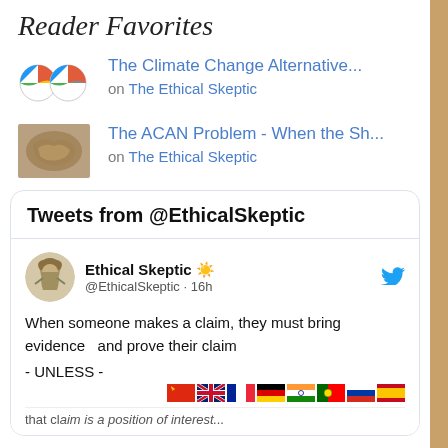Reader Favorites
The Climate Change Alternative... on The Ethical Skeptic
The ACAN Problem - When the Sh... on The Ethical Skeptic
Tweets from @EthicalSkeptic
Ethical Skeptic ☀️ @EthicalSkeptic · 16h
When someone makes a claim, they must bring evidence  and prove their claim

- UNLESS -